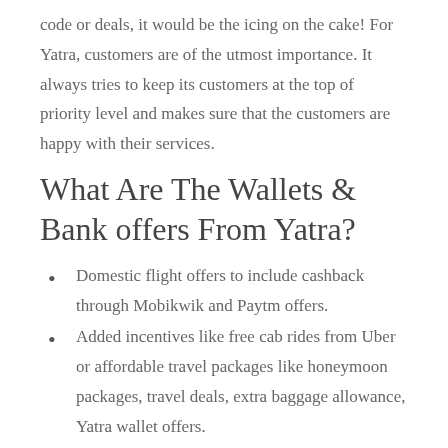code or deals, it would be the icing on the cake! For Yatra, customers are of the utmost importance. It always tries to keep its customers at the top of priority level and makes sure that the customers are happy with their services.
What Are The Wallets & Bank offers From Yatra?
Domestic flight offers to include cashback through Mobikwik and Paytm offers.
Added incentives like free cab rides from Uber or affordable travel packages like honeymoon packages, travel deals, extra baggage allowance, Yatra wallet offers.
You can avail SBI card offer up to Rs 8,250 worth